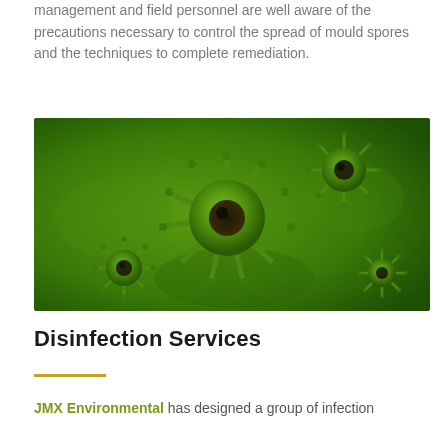management and field personnel are well aware of the precautions necessary to control the spread of mould spores and the techniques to complete remediation.
[Figure (photo): Close-up photo of green mould spore microorganisms on a green background, showing multiple spiked spherical structures resembling virus or mould particles.]
Disinfection Services
JMX Environmental has designed a group of infection